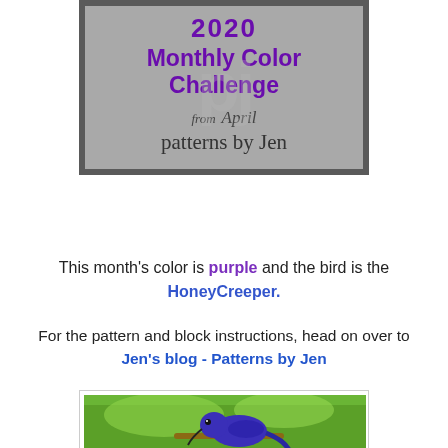[Figure (logo): 2020 Monthly Color Challenge badge from Patterns by Jen. Gray background with purple bold text reading '2020 Monthly Color Challenge', cursive text 'from April patterns by Jen'. Dark gray border.]
This month's color is purple and the bird is the HoneyCreeper.
For the pattern and block instructions, head on over to Jen's blog - Patterns by Jen
[Figure (photo): A photo of a purple HoneyCreeper bird perched on a branch, with green foliage in background.]